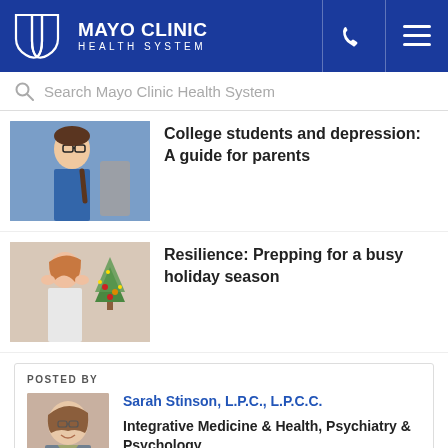[Figure (logo): Mayo Clinic Health System logo with shield emblem on blue background header with phone and menu icons]
Search Mayo Clinic Health System
[Figure (photo): Young man with glasses and backpack looking pensive]
College students and depression: A guide for parents
[Figure (photo): Woman holding her temples stressed with Christmas tree in background]
Resilience: Prepping for a busy holiday season
POSTED BY
[Figure (photo): Portrait of Sarah Stinson, a woman with short brown hair and glasses smiling]
Sarah Stinson, L.P.C., L.P.C.C.
Integrative Medicine & Health, Psychiatry & Psychology
Recent Posts